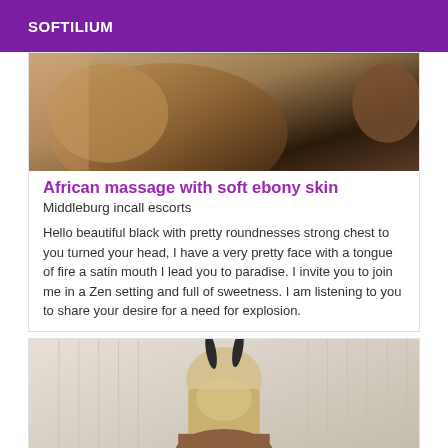SOFTILIUM
[Figure (photo): Close-up photo of dark skin, cropped body image]
African massage with soft ebony skin
Middleburg incall escorts
Hello beautiful black with pretty roundnesses strong chest to you turned your head, I have a very pretty face with a tongue of fire a satin mouth I lead you to paradise. I invite you to join me in a Zen setting and full of sweetness. I am listening to you to share your desire for a need for explosion.
[Figure (photo): Person with bunny ears headband, blonde hair, seen from behind, in front of curtains]